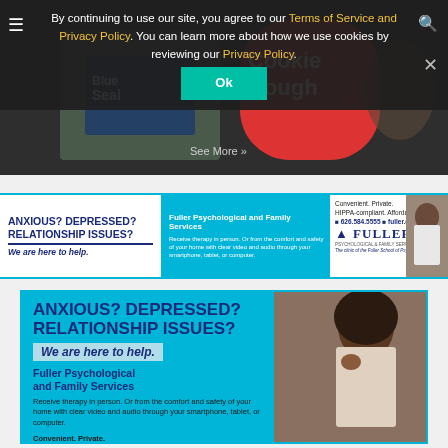[Figure (screenshot): Cookie consent overlay on a website showing Terms of Service and Privacy Policy links, an Ok button, and a background advertisement image]
[Figure (infographic): Small horizontal banner ad for Fuller Psychological and Family Services: 'ANXIOUS? DEPRESSED? RELATIONSHIP ISSUES? We are here to help.' with contact info 626.584.5555 and fuller.edu/fpfs]
[Figure (infographic): Large vertical banner ad for Fuller Psychological and Family Services showing the same messaging with a photo of a woman holding her head in distress]